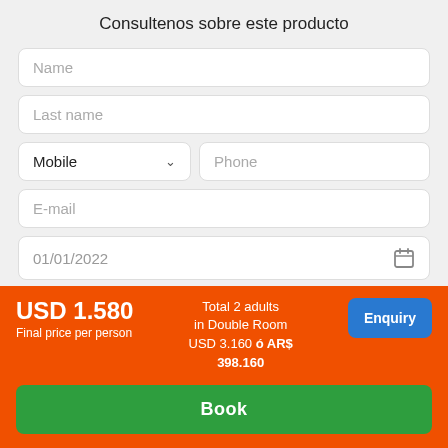Consultenos sobre este producto
Name
Last name
Mobile
Phone
E-mail
01/01/2022
USD 1.580
Final price per person
Total 2 adults in Double Room USD 3.160 ó AR$ 398.160
Enquiry
Book